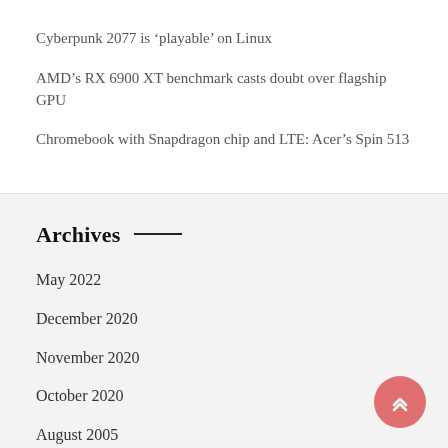Cyberpunk 2077 is ‘playable’ on Linux
AMD’s RX 6900 XT benchmark casts doubt over flagship GPU
Chromebook with Snapdragon chip and LTE: Acer’s Spin 513
Archives
May 2022
December 2020
November 2020
October 2020
August 2005